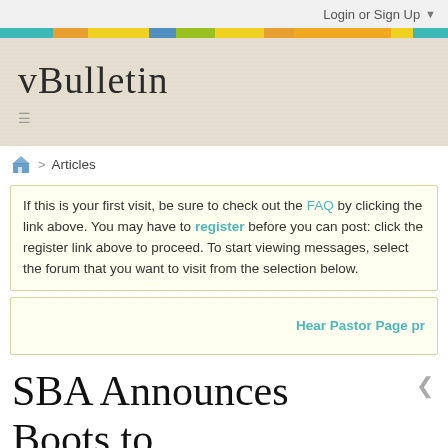Login or Sign Up ▼
[Figure (other): Colorful horizontal stripe bar with segments in teal, orange, yellow, blue, green, orange, orange, yellow, and teal colors]
[Figure (logo): vBulletin logo in cursive/script font with hamburger menu icon below]
🏠 > Articles
If this is your first visit, be sure to check out the FAQ by clicking the link above. You may have to register before you can post: click the register link above to proceed. To start viewing messages, select the forum that you want to visit from the selection below.
Hear Pastor Page pr
SBA Announces Boots to B...